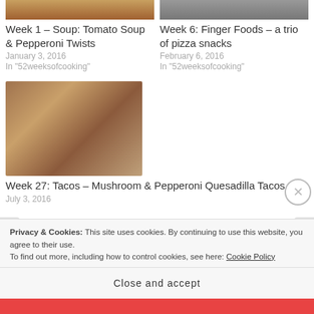[Figure (photo): Partial food photo top-left (soup/tomato dish)]
Week 1 – Soup: Tomato Soup & Pepperoni Twists
January 3, 2016
In "52weeksofcooking"
[Figure (photo): Partial food photo top-right (finger foods/pizza snacks)]
Week 6: Finger Foods – a trio of pizza snacks
February 6, 2016
In "52weeksofcooking"
[Figure (photo): Photo of tacos with mushroom and pepperoni quesadilla toppings]
Week 27: Tacos – Mushroom & Pepperoni Quesadilla Tacos
July 3, 2016
Privacy & Cookies: This site uses cookies. By continuing to use this website, you agree to their use.
To find out more, including how to control cookies, see here: Cookie Policy
Close and accept